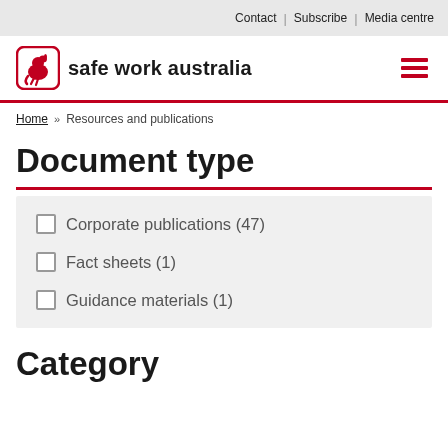Contact | Subscribe | Media centre
[Figure (logo): Safe Work Australia logo with kangaroo icon and text 'safe work australia']
Home » Resources and publications
Document type
Corporate publications (47)
Fact sheets (1)
Guidance materials (1)
Category